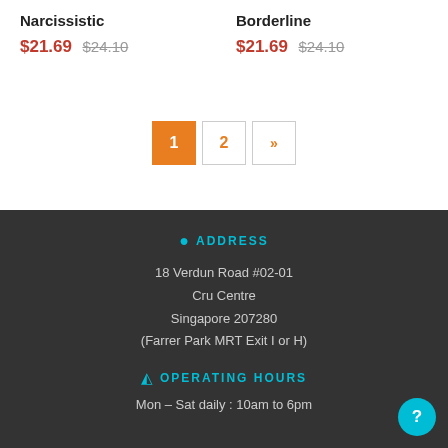Narcissistic $21.69  $24.10
Borderline $21.69  $24.10
1  2  »
ADDRESS
18 Verdun Road #02-01
Cru Centre
Singapore 207280
(Farrer Park MRT Exit I or H)
OPERATING HOURS
Mon – Sat daily : 10am to 6pm